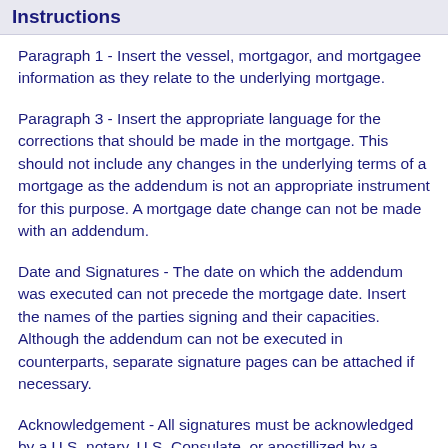Instructions
Paragraph 1 - Insert the vessel, mortgagor, and mortgagee information as they relate to the underlying mortgage.
Paragraph 3 - Insert the appropriate language for the corrections that should be made in the mortgage. This should not include any changes in the underlying terms of a mortgage as the addendum is not an appropriate instrument for this purpose. A mortgage date change can not be made with an addendum.
Date and Signatures - The date on which the addendum was executed can not precede the mortgage date. Insert the names of the parties signing and their capacities. Although the addendum can not be executed in counterparts, separate signature pages can be attached if necessary.
Acknowledgement - All signatures must be acknowledged by a U.S. notary, U.S. Consulate, or apostillized by a member country of the Hague Convention if notarized foreign. The notary public may need to provide an attachment if the